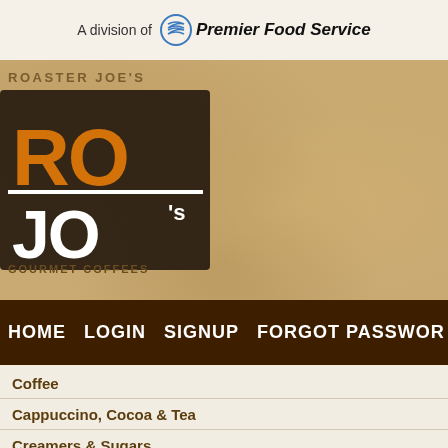A division of Premier Food Service
[Figure (logo): Roaster Joe's RoJo's Gourmet Coffees logo on kraft paper background]
HOME  LOGIN  SIGNUP  FORGOT PASSWORD
Coffee
Cappuccino, Cocoa & Tea
Creamers & Sugars
FREQUENTLY
Expand All FAQs  Co